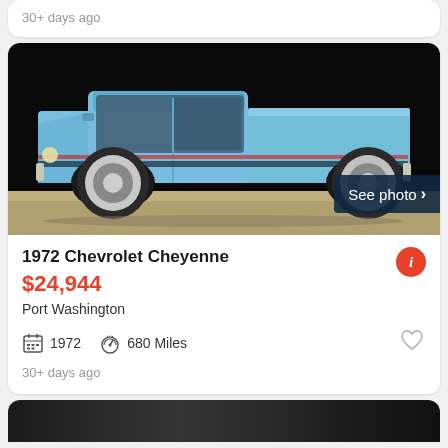30+ days ago
[Figure (photo): Side profile of a 1972 Chevrolet Cheyenne pickup truck in light blue, with chrome wheels, parked on a concrete surface against a dark background. A 'See photo >' overlay button appears in the bottom-right corner of the image.]
1972 Chevrolet Cheyenne
$24,944
Port Washington
1972   680 Miles
30+ days ago